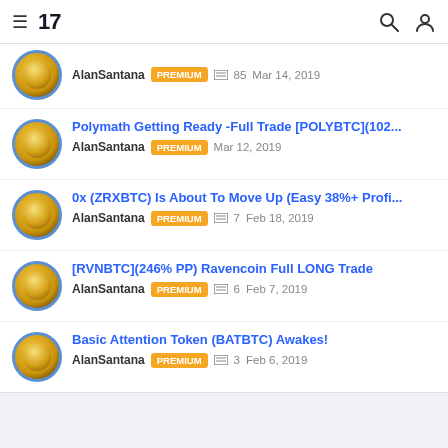TradingView header with logo, search and user icons
AlanSantana PREMIUM 85 Mar 14, 2019
Polymath Getting Ready -Full Trade [POLYBTC](102... AlanSantana PREMIUM Mar 12, 2019
0x (ZRXBTC) Is About To Move Up (Easy 38%+ Profi... AlanSantana PREMIUM 7 Feb 18, 2019
[RVNBTC](246% PP) Ravencoin Full LONG Trade AlanSantana PREMIUM 6 Feb 7, 2019
Basic Attention Token (BATBTC) Awakes! AlanSantana PREMIUM 3 Feb 6, 2019